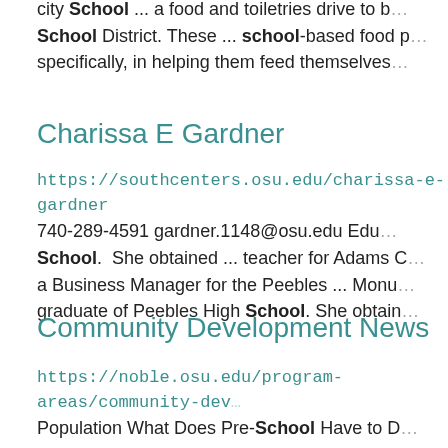city School ... a food and toiletries drive to b... School District. These ... school-based food p... specifically, in helping them feed themselves...
Charissa E Gardner
https://southcenters.osu.edu/charissa-e-gardner
740-289-4591 gardner.1148@osu.edu Edu...
School. She obtained ... teacher for Adams C...
a Business Manager for the Peebles ... Monu...
graduate of Peebles High School. She obtain...
Community Development News
https://noble.osu.edu/program-areas/community-dev...
Population What Does Pre-School Have to D...
Extension Noble County Presents ...